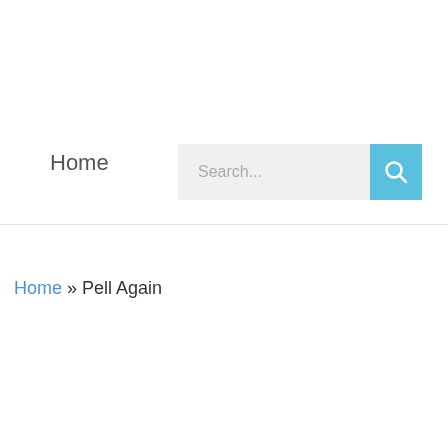Home
[Figure (screenshot): Search bar with text input field showing placeholder 'Search...' and a blue search button with magnifying glass icon]
Home » Pell Again